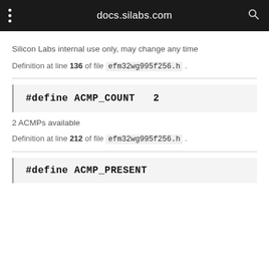docs.silabs.com
Silicon Labs internal use only, may change any time
Definition at line 136 of file efm32wg995f256.h .
2 ACMPs available
Definition at line 212 of file efm32wg995f256.h .